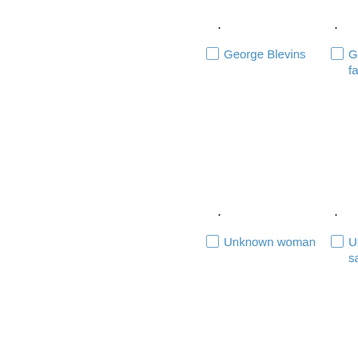• George Blevins
• Geo... fam...
• Unknown woman
• Unk... saile...